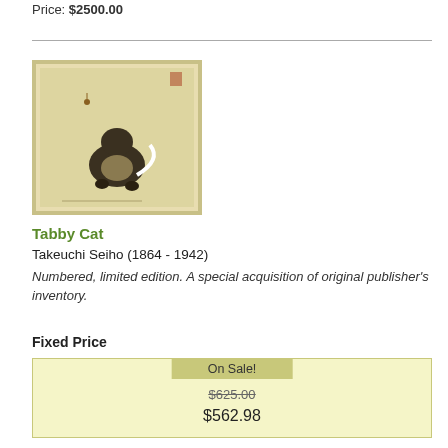Price: $2500.00
[Figure (photo): Japanese woodblock print of a tabby cat, light beige background, cat shown playing or jumping, dark markings, framed with thin olive-green border]
Tabby Cat
Takeuchi Seiho (1864 - 1942)
Numbered, limited edition. A special acquisition of original publisher's inventory.
Fixed Price
| On Sale! |
| $625.00 |
| $562.98 |